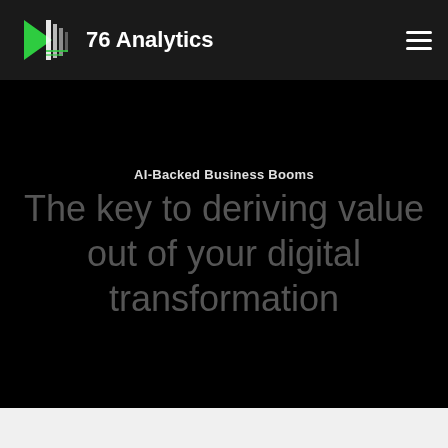[Figure (logo): 76 Analytics logo with green geometric arrow/book icon and white text '76 Analytics' on dark navigation bar]
AI-Backed Business Booms
The key to deriving value out of your digital transformation